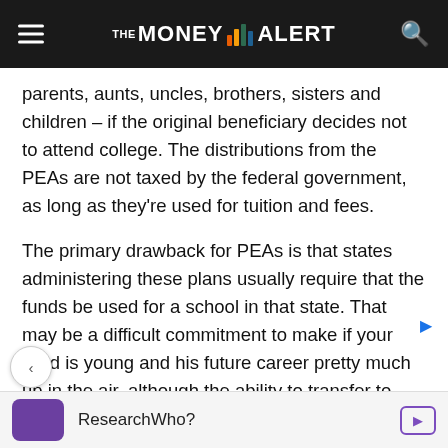THE MONEY ALERT
parents, aunts, uncles, brothers, sisters and children – if the original beneficiary decides not to attend college. The distributions from the PEAs are not taxed by the federal government, as long as they're used for tuition and fees.
The primary drawback for PEAs is that states administering these plans usually require that the funds be used for a school in that state. That may be a difficult commitment to make if your child is young and his future career pretty much up in the air, although the ability to transfer to another family member gives you one option if plans change.
PEAs are just one of the extensive opportunities for securing child's future and typically contain less risk. By meeting
ResearchWho?